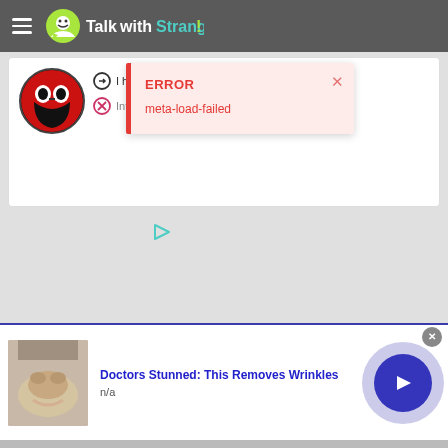TalkwithStranger!
[Figure (screenshot): User profile card with avatar showing a character in red and black costume, with two icons and partial text 'I h...' and 'Inte...']
[Figure (screenshot): Error popup overlay with red left border, title 'ERROR' in bold red, message 'meta-load-failed' in red, and a pink close X button]
[Figure (logo): Small teal play-button style arrow icon (ad indicator)]
[Figure (screenshot): Advertisement banner: skin close-up photo on left, blue bold text 'Doctors Stunned: This Removes Wrinkles', subtext 'n/a', and a large blue circular next button on the right with a gray X close button]